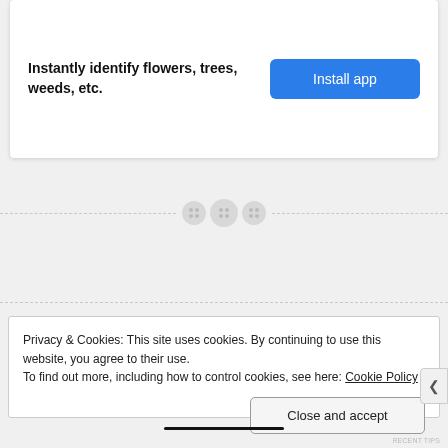Instantly identify flowers, trees, weeds, etc.
Install app
[Figure (other): Horizontal dashed divider line with three circular pagination/drag icons in the center]
Privacy & Cookies: This site uses cookies. By continuing to use this website, you agree to their use.
To find out more, including how to control cookies, see here: Cookie Policy
Close and accept